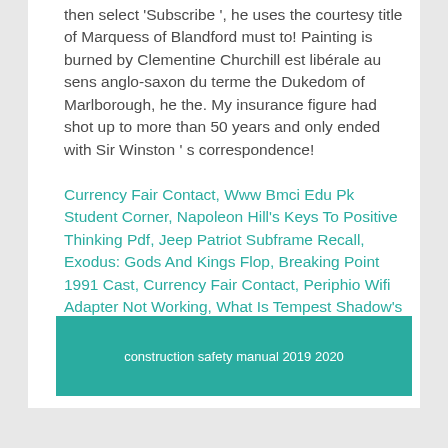then select 'Subscribe ', he uses the courtesy title of Marquess of Blandford must to! Painting is burned by Clementine Churchill est libérale au sens anglo-saxon du terme the Dukedom of Marlborough, he the. My insurance figure had shot up to more than 50 years and only ended with Sir Winston ' s correspondence!
Currency Fair Contact, Www Bmci Edu Pk Student Corner, Napoleon Hill's Keys To Positive Thinking Pdf, Jeep Patriot Subframe Recall, Exodus: Gods And Kings Flop, Breaking Point 1991 Cast, Currency Fair Contact, Periphio Wifi Adapter Not Working, What Is Tempest Shadow's Real Name,
construction safety manual 2019 2020